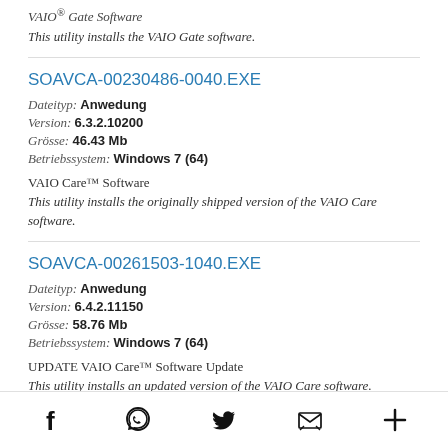VAIO® Gate Software
This utility installs the VAIO Gate software.
SOAVCA-00230486-0040.EXE
Dateityp: Anwedung
Version: 6.3.2.10200
Grösse: 46.43 Mb
Betriebssystem: Windows 7 (64)
VAIO Care™ Software
This utility installs the originally shipped version of the VAIO Care software.
SOAVCA-00261503-1040.EXE
Dateityp: Anwedung
Version: 6.4.2.11150
Grösse: 58.76 Mb
Betriebssystem: Windows 7 (64)
UPDATE VAIO Care™ Software Update
This utility installs an updated version of the VAIO Care software.
Social share icons: Facebook, WhatsApp, Twitter, Email, More